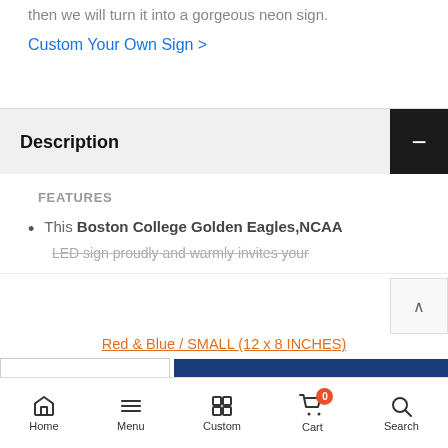then we will turn it into a gorgeous neon sign.
Custom Your Own Sign >
Description
FEATURES
This Boston College Golden Eagles,NCAA LED sign proudly and warmly invites your
Red & Blue / SMALL (12 x 8 INCHES)
- 1 +   ADD TO CART
Home | Menu | Custom | Cart (0) | Search